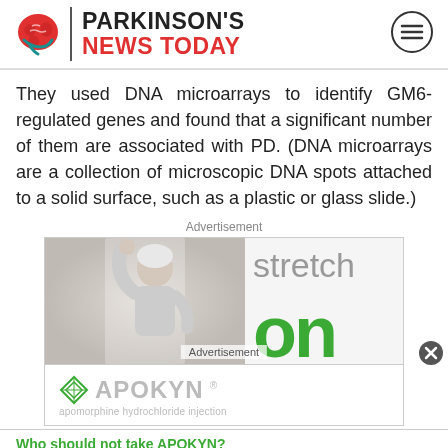[Figure (logo): Parkinson's News Today logo with brain icon, site name in black and red, and hamburger menu button]
They used DNA microarrays to identify GM6-regulated genes and found that a significant number of them are associated with PD. (DNA microarrays are a collection of microscopic DNA spots attached to a solid surface, such as a plastic or glass slide.)
Advertisement
[Figure (photo): Advertisement banner showing a person stretching with arm raised, with the words 'stretch on' in grey and green. APOKYN (apomorphine hydrochloride injection) branded ad.]
Who should not take APOKYN?
Do not take APOKYN if you are: